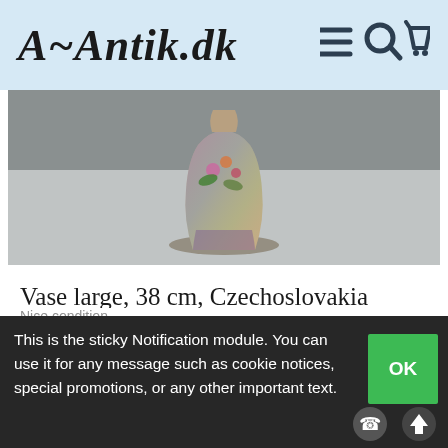A~Antik.dk
[Figure (photo): Close-up photograph of a large antique vase from Czechoslovakia, approximately 38 cm tall, with iridescent purple/green coloring and floral decoration, sitting on a grey surface.]
Vase large, 38 cm, Czechoslovakia
Nice condition.
This is the sticky Notification module. You can use it for any message such as cookie notices, special promotions, or any other important text.